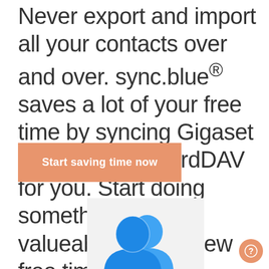Never export and import all your contacts over and over. sync.blue® saves a lot of your free time by syncing Gigaset contacts with CardDAV for you. Start doing something more valueable in your new free time.
[Figure (other): Orange button with white bold text reading 'Start saving time now']
[Figure (illustration): Blue silhouette illustration of two people (contacts icon) on a light grey background, partially visible at the bottom of the page]